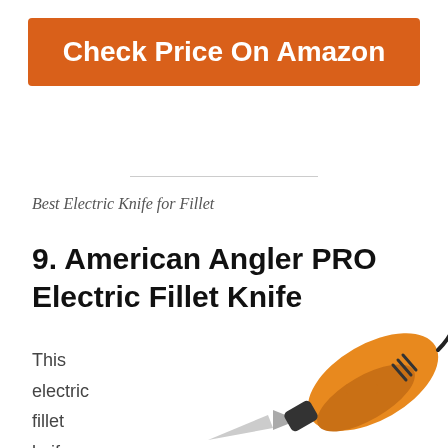Check Price On Amazon
Best Electric Knife for Fillet
9. American Angler PRO Electric Fillet Knife
This electric fillet knife comes with a great
[Figure (photo): Orange and black American Angler PRO Electric Fillet Knife shown at an angle]